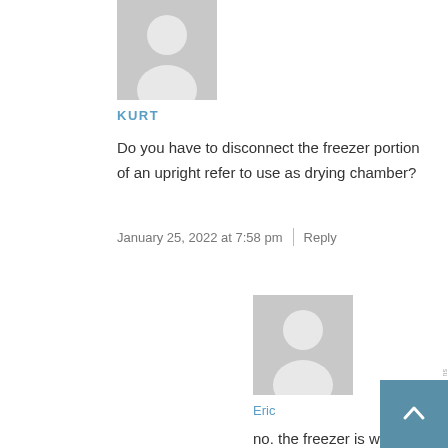[Figure (illustration): Gray placeholder avatar silhouette for user Kurt]
KURT
Do you have to disconnect the freezer portion of an upright refer to use as drying chamber?
January 25, 2022 at 7:58 pm  |  Reply
[Figure (illustration): Gray placeholder avatar silhouette for user Eric]
Eric
no. the freezer is where the cooling happens. I usually combine the fridge and the freezer by taking out the divider